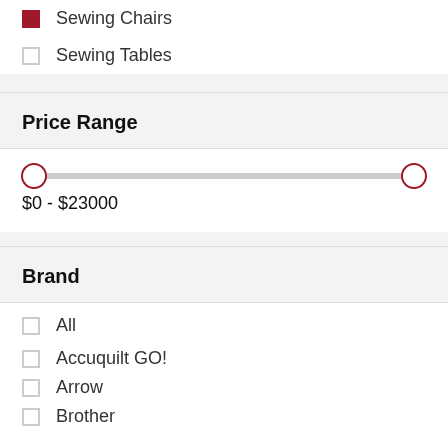Sewing Chairs
Sewing Tables
Price Range
[Figure (other): Price range slider from $0 to $23000]
$0 - $23000
Brand
All
Accuquilt GO!
Arrow
Brother